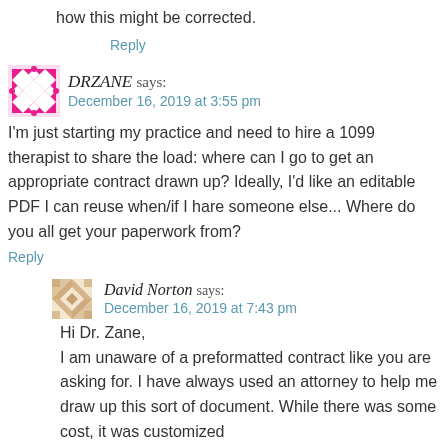how this might be corrected.
Reply
DRZANE says: December 16, 2019 at 3:55 pm
I'm just starting my practice and need to hire a 1099 therapist to share the load: where can I go to get an appropriate contract drawn up? Ideally, I'd like an editable PDF I can reuse when/if I hare someone else... Where do you all get your paperwork from?
Reply
David Norton says: December 16, 2019 at 7:43 pm
Hi Dr. Zane, I am unaware of a preformatted contract like you are asking for. I have always used an attorney to help me draw up this sort of document. While there was some cost, it was customized